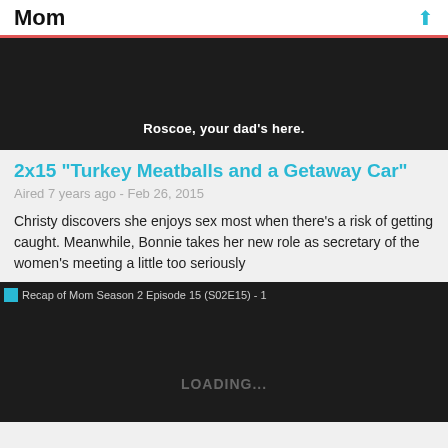Mom
[Figure (screenshot): Dark video frame with white subtitle text: Roscoe, your dad's here.]
2x15 "Turkey Meatballs and a Getaway Car"
Aired 7 years ago - Feb 26, 2015
Christy discovers she enjoys sex most when there's a risk of getting caught. Meanwhile, Bonnie takes her new role as secretary of the women's meeting a little too seriously
[Figure (screenshot): Recap image for Mom Season 2 Episode 15 (S02E15) - 1, loading state shown with dark background and LOADING... text]